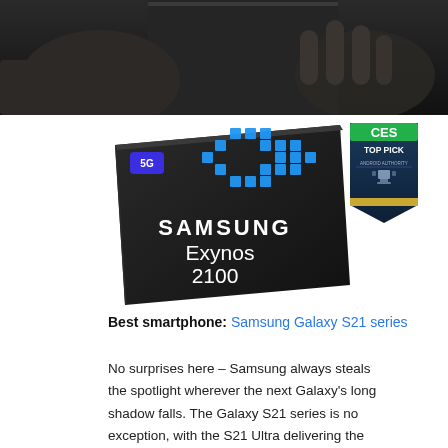[Figure (photo): Close-up photo of hands holding a slim device, dark background]
[Figure (photo): Samsung Exynos 2100 chip promotional image on dark background with blue circuit pattern and 5G logo, alongside CES Top Pick badge from Android Authority]
Best smartphone: Samsung Galaxy S21 series
No surprises here – Samsung always steals the spotlight wherever the next Galaxy's long shadow falls. The Galaxy S21 series is no exception, with the S21 Ultra delivering the best of the best with Samsung's characteristic...